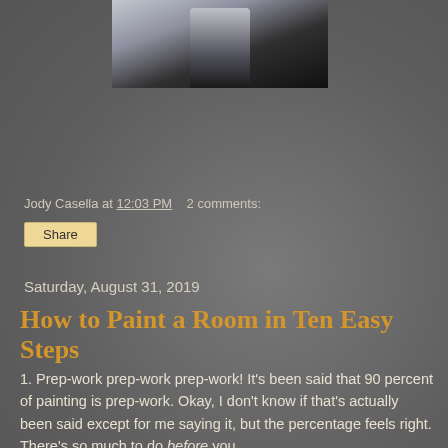[Figure (photo): Partial photo of a person standing, showing lower body in dark pants and light top, cropped at the top of the page]
Jody Casella at 12:03 PM   2 comments:
Share
Saturday, August 31, 2019
How to Paint a Room in Ten Easy Steps
1. Prep-work prep-work prep-work! It's been said that 90 percent of painting is prep-work. Okay, I don't know if that's actually been said except for me saying it, but the percentage feels right. There's so much to do before you